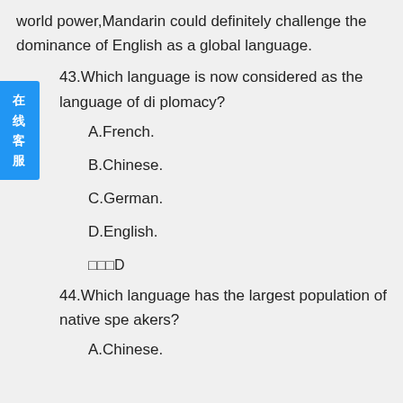world power,Mandarin could definitely challenge the dominance of English as a global language.
43.Which language is now considered as the language of diplomacy?
A.French.
B.Chinese.
C.German.
D.English.
□□□D
44.Which language has the largest population of native speakers?
A.Chinese.